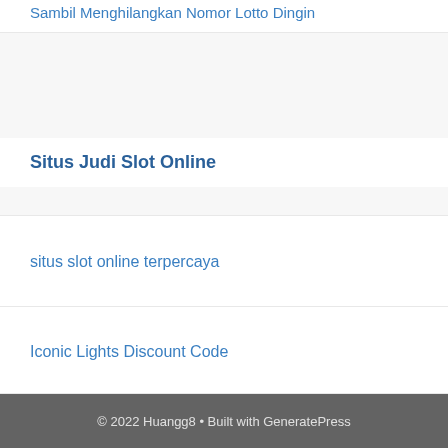Sambil Menghilangkan Nomor Lotto Dingin
Situs Judi Slot Online
situs slot online terpercaya
Iconic Lights Discount Code
© 2022 Huangg8 • Built with GeneratePress